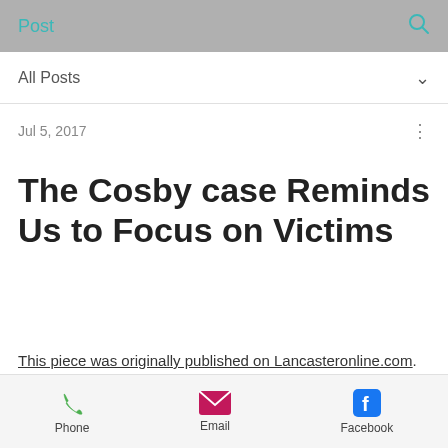Post
All Posts
Jul 5, 2017
The Cosby case Reminds Us to Focus on Victims
This piece was originally published on Lancasteronline.com.
Phone  Email  Facebook